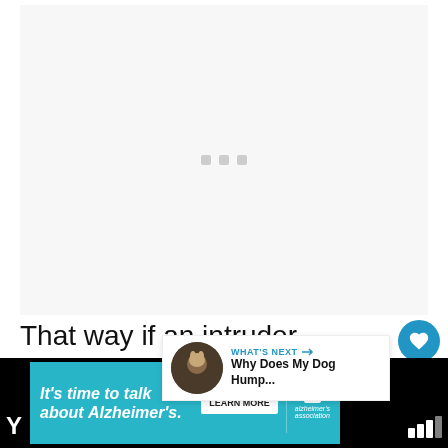[Figure (other): Large blank/loading image area with faint loading dots]
That way if an intruder appears, they can alert you immediately.
[Figure (other): WHAT'S NEXT panel with thumbnail: Why Does My Dog Hump...]
[Figure (other): Social interaction buttons: heart (like) button with count 2, and share button]
[Figure (other): Advertisement banner: It's time to talk about Alzheimer's. LEARN MORE. Alzheimer's Association logo. Close button (X).]